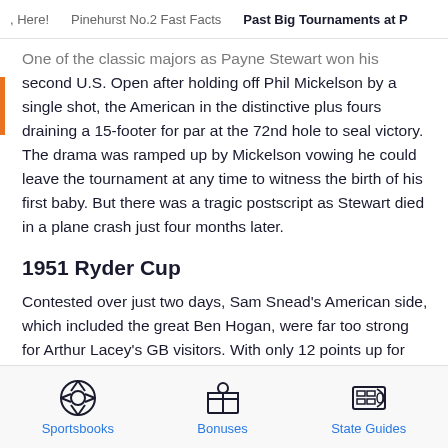, Here!   Pinehurst No.2 Fast Facts   Past Big Tournaments at P
One of the classic majors as Payne Stewart won his second U.S. Open after holding off Phil Mickelson by a single shot, the American in the distinctive plus fours draining a 15-footer for par at the 72nd hole to seal victory. The drama was ramped up by Mickelson vowing he could leave the tournament at any time to witness the birth of his first baby. But there was a tragic postscript as Stewart died in a plane crash just four months later.
1951 Ryder Cup
Contested over just two days, Sam Snead's American side, which included the great Ben Hogan, were far too strong for Arthur Lacey's GB visitors. With only 12 points up for
Sportsbooks   Bonuses   State Guides